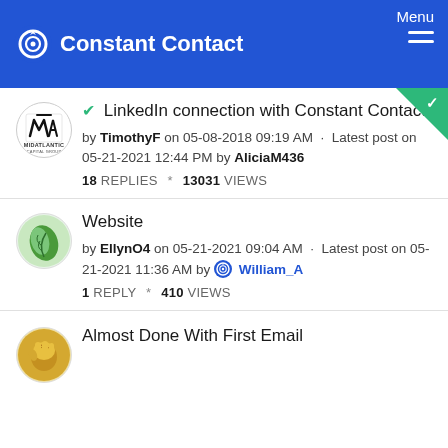Constant Contact — Menu
LinkedIn connection with Constant Contact
by TimothyF on 05-08-2018 09:19 AM · Latest post on 05-21-2021 12:44 PM by AliciaM436
18 REPLIES * 13031 VIEWS
Website
by EllynO4 on 05-21-2021 09:04 AM · Latest post on 05-21-2021 11:36 AM by William_A
1 REPLY * 410 VIEWS
Almost Done With First Email